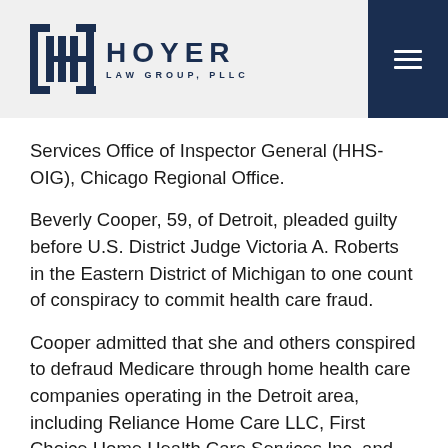HOYER LAW GROUP, PLLC
Services Office of Inspector General (HHS-OIG), Chicago Regional Office.
Beverly Cooper, 59, of Detroit, pleaded guilty before U.S. District Judge Victoria A. Roberts in the Eastern District of Michigan to one count of conspiracy to commit health care fraud.
Cooper admitted that she and others conspired to defraud Medicare through home health care companies operating in the Detroit area, including Reliance Home Care LLC, First Choice Home Health Care Services Inc. and Accessible Home